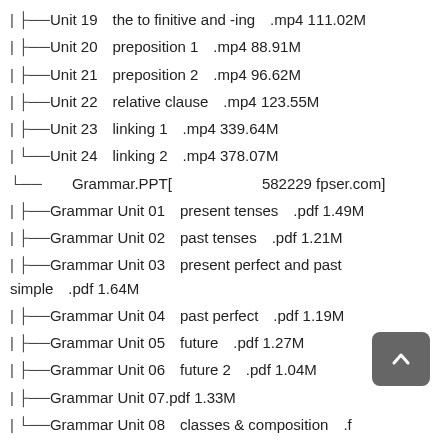| ├──Unit 19　the to finitive and -ing　.mp4 111.02M
| ├──Unit 20　preposition 1　.mp4 88.91M
| ├──Unit 21　preposition 2　.mp4 96.62M
| ├──Unit 22　relative clause　.mp4 123.55M
| ├──Unit 23　linking 1　.mp4 339.64M
| └──Unit 24　linking 2　.mp4 378.07M
└──　Grammar.PPT[　　　　　582229 fpser.com]
| ├──Grammar Unit 01　present tenses　.pdf 1.49M
| ├──Grammar Unit 02　past tenses　.pdf 1.21M
| ├──Grammar Unit 03　present perfect and past simple　.pdf 1.64M
| ├──Grammar Unit 04　past perfect　.pdf 1.19M
| ├──Grammar Unit 05　future　.pdf 1.27M
| ├──Grammar Unit 06　future 2　.pdf 1.04M
| ├──Grammar Unit 07.pdf 1.33M
| └──Grammar Unit 08　classes & composition　.f